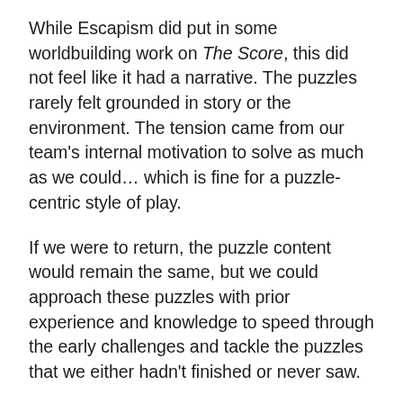While Escapism did put in some worldbuilding work on The Score, this did not feel like it had a narrative. The puzzles rarely felt grounded in story or the environment. The tension came from our team's internal motivation to solve as much as we could… which is fine for a puzzle-centric style of play.
If we were to return, the puzzle content would remain the same, but we could approach these puzzles with prior experience and knowledge to speed through the early challenges and tackle the puzzles that we either hadn't finished or never saw.
We had a good time playing The Score once and certainly recommend it for folks who are in the region and looking for lots of puzzle play. I don't imagine that the allure of a higher score would be enough to draw us in for a second crack at the game. We know folks who would be all about this and if it's out there, the nicest of plaudits that we do…